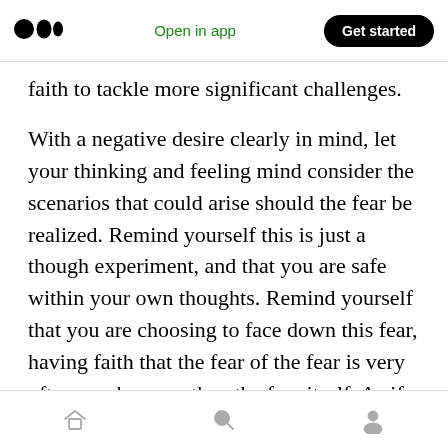Medium logo | Open in app | Get started
faith to tackle more significant challenges.
With a negative desire clearly in mind, let your thinking and feeling mind consider the scenarios that could arise should the fear be realized. Remind yourself this is just a though experiment, and that you are safe within your own thoughts. Remind yourself that you are choosing to face down this fear, having faith that the fear of the fear is very often much worse than the fear itself. As if telling the story, see the situation through to several possible conclusions, based on some
Home | Search | Profile